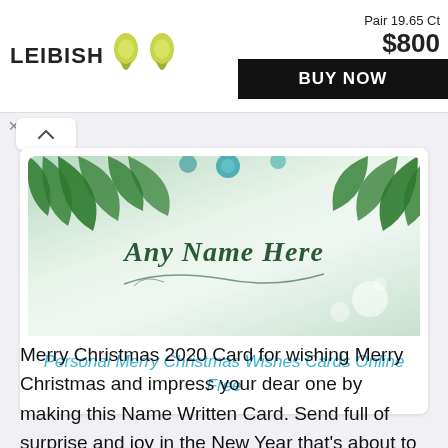[Figure (screenshot): LEIBISH advertisement banner showing pair of yellow-green gemstones, price $800 with BUY NOW button. Text: Pair 19.65 Ct, $800, BUY NOW]
[Figure (photo): Christmas card image with pine branches at top, decorative swirl and text 'Any Name Here' in dark green italic font on light green/white background with bokeh circles]
Personal Merry Christmas Wishes Cards Online Free
Merry Christmas 2020 Card for wishing Merry Christmas and impress your dear one by making this Name Written Card. Send full of surprise and joy in the New Year that's about to begin. You can make your dear one feel Blessed by sending this best Merry Christmas Card on 25th December.